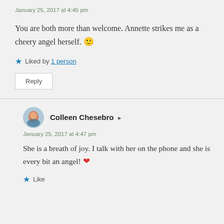January 25, 2017 at 4:45 pm
You are both more than welcome. Annette strikes me as a cheery angel herself. 🙂
★ Liked by 1 person
Reply
Colleen Chesebro
January 25, 2017 at 4:47 pm
She is a breath of joy. I talk with her on the phone and she is every bit an angel! ❤
★ Like